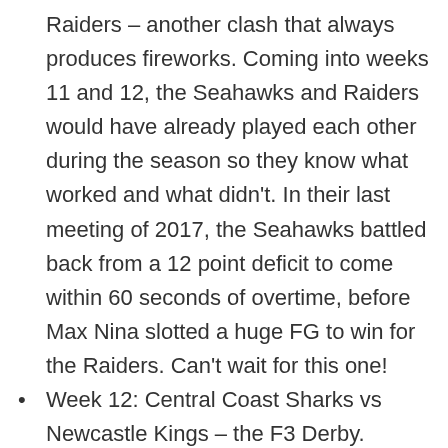Raiders – another clash that always produces fireworks. Coming into weeks 11 and 12, the Seahawks and Raiders would have already played each other during the season so they know what worked and what didn't. In their last meeting of 2017, the Seahawks battled back from a 12 point deficit to come within 60 seconds of overtime, before Max Nina slotted a huge FG to win for the Raiders. Can't wait for this one!
Week 12: Central Coast Sharks vs Newcastle Kings – the F3 Derby. Always an absolute cracker between these two and this one should be no exceptions. It will be